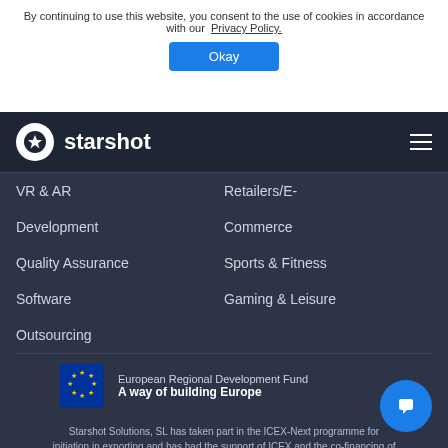By continuing to use this website, you consent to the use of cookies in accordance with our Privacy Policy.
Okay
starshot
VR & AR
Retailers/E-
Development
Commerce
Quality Assurance
Sports & Fitness
Software
Gaming & Leisure
Outsourcing
[Figure (logo): European Regional Development Fund logo with EU flag and text 'A way of building Europe']
Starshot Solutions, SL has taken part in the ICEX-Next programme for initiation in exporting and has had the support of ICEX and the co-financing of FEDER European Funds. The purpose of this support is to contribute to the international development of the company and its environment.